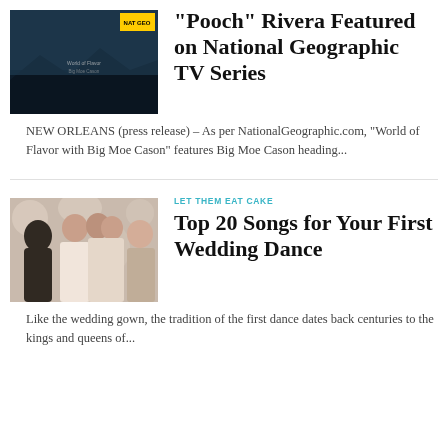[Figure (photo): Small thumbnail showing a TV/documentary style image with National Geographic branding]
“Pooch” Rivera Featured on National Geographic TV Series
NEW ORLEANS (press release) –  As per NationalGeographic.com, “World of Flavor with Big Moe Cason” features Big Moe Cason heading…
[Figure (photo): Photo of people dancing at a wedding, bride and groom kissing with guests in background]
LET THEM EAT CAKE
Top 20 Songs for Your First Wedding Dance
Like the wedding gown, the tradition of the first dance dates back centuries to the kings and queens of…